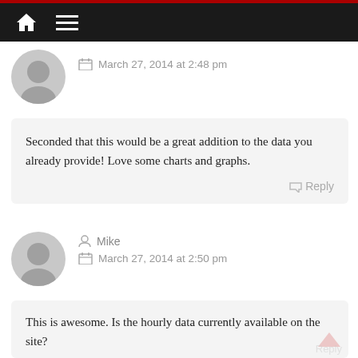Navigation bar with home and menu icons
March 27, 2014 at 2:48 pm
Seconded that this would be a great addition to the data you already provide! Love some charts and graphs.
Mike
March 27, 2014 at 2:50 pm
This is awesome. Is the hourly data currently available on the site?